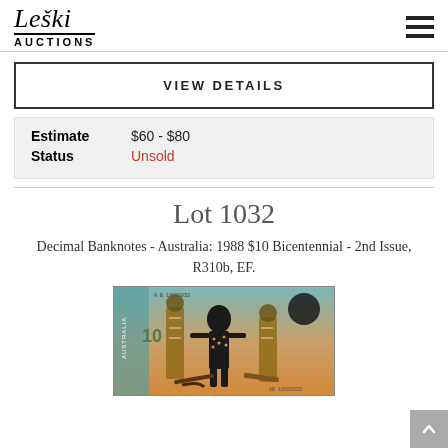Leski Auctions
VIEW DETAILS
| Estimate | $60 - $80 |
| Status | Unsold |
Lot 1032
Decimal Banknotes - Australia: 1988 $10 Bicentennial - 2nd Issue, R310b, EF.
[Figure (photo): Australian 1988 $10 Bicentennial banknote featuring an Aboriginal man with decorative body art and traditional items]